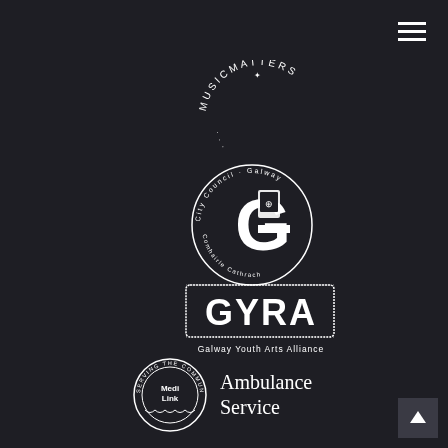[Figure (logo): Hamburger menu icon (three horizontal white lines) in top right corner]
[Figure (logo): Music Matters logo - circular text arrangement in white on dark background]
[Figure (logo): Galway City Council logo - stylized G with shield emblem in white on dark background]
[Figure (logo): GYRA - Galway Youth Arts Alliance logo in white on dark background with spiky border effect]
[Figure (logo): MediLink Ambulance Service logo - circular badge with text 'SERVING THE COMMUNITY' and 'Ambulance Service' text in white on dark background]
[Figure (logo): Back to top arrow button in bottom right corner]